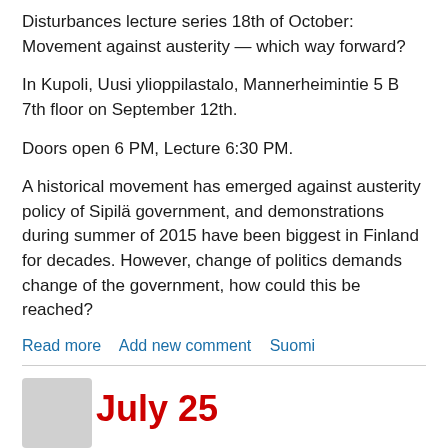Disturbances lecture series 18th of October: Movement against austerity — which way forward?
In Kupoli, Uusi ylioppilastalo, Mannerheimintie 5 B 7th floor on September 12th.
Doors open 6 PM, Lecture 6:30 PM.
A historical movement has emerged against austerity policy of Sipilä government, and demonstrations during summer of 2015 have been biggest in Finland for decades. However, change of politics demands change of the government, how could this be reached?
Read more   Add new comment   Suomi
July 25 International Day of Solidarity with Antifascist Prisoners!!
Submitted by elvish on 21 July, 2015 - 20:34